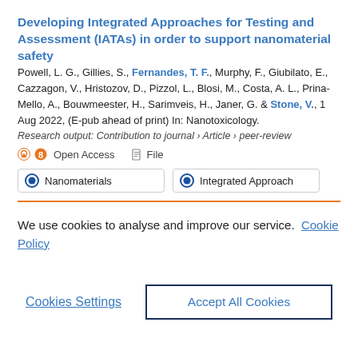Developing Integrated Approaches for Testing and Assessment (IATAs) in order to support nanomaterial safety
Powell, L. G., Gillies, S., Fernandes, T. F., Murphy, F., Giubilato, E., Cazzagon, V., Hristozov, D., Pizzol, L., Blosi, M., Costa, A. L., Prina-Mello, A., Bouwmeester, H., Sarimveis, H., Janer, G. & Stone, V., 1 Aug 2022, (E-pub ahead of print) In: Nanotoxicology.
Research output: Contribution to journal › Article › peer-review
Open Access   File
Nanomaterials   Integrated Approach
We use cookies to analyse and improve our service. Cookie Policy
Cookies Settings
Accept All Cookies